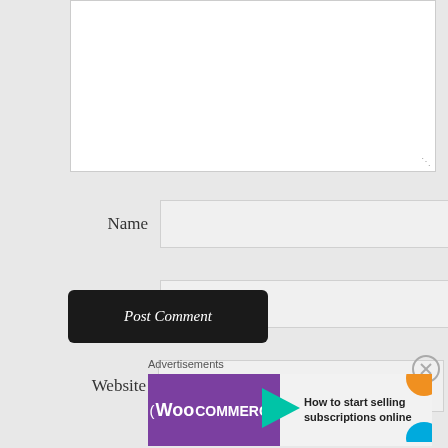[Figure (screenshot): Web form comment section with textarea, Name, Email, Website fields, Post Comment button, and WooCommerce advertisement banner]
Name
Email
Website
Post Comment
Advertisements
[Figure (illustration): WooCommerce advertisement banner with purple background, green arrow, and text: How to start selling subscriptions online]